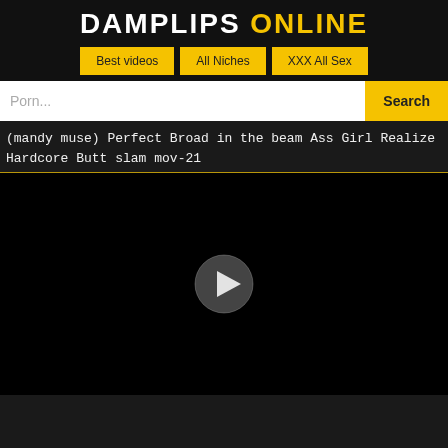DAMPLIPS ONLINE
Best videos
All Niches
XXX All Sex
Porn...
Search
(mandy muse) Perfect Broad in the beam Ass Girl Realize Hardcore Butt slam mov-21
[Figure (screenshot): Video player with black background and a circular play button in the center]